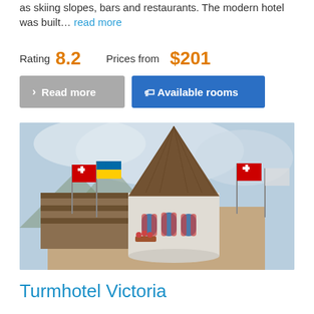as skiing slopes, bars and restaurants. The modern hotel was built… read more
Rating 8.2   Prices from $201
Read more   Available rooms
[Figure (photo): Exterior photo of Turmhotel Victoria showing a white round tower with red and white striped shutters and arched windows, multiple national flags flying on poles, rustic wooden balconies, and a conical copper roof, set against a cloudy mountain sky.]
Turmhotel Victoria